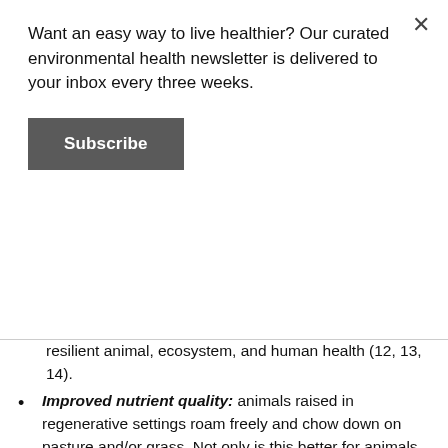Want an easy way to live healthier? Our curated environmental health newsletter is delivered to your inbox every three weeks.
Subscribe
resilient animal, ecosystem, and human health (12, 13, 14).
Improved nutrient quality: animals raised in regenerative settings roam freely and chow down on pasture and/or grass. Not only is this better for animals, but the animal products also have healthier proportions of fats and nutrients (15, 16).
Healthier animals: animals pick up fewer hitch-hiking pathogens when they're healthy and have enough space, which means we then have less exposure to food-borne pathogens (like E. coli). Also, when animals don't need